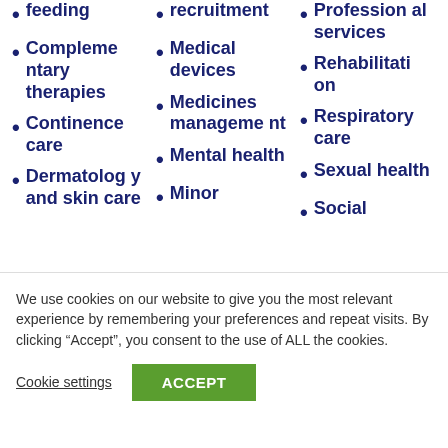feeding
Complementary therapies
Continence care
Dermatology and skin care
recruitment
Medical devices
Medicines management
Mental health
Minor
Professional services
Rehabilitation
Respiratory care
Sexual health
Social
We use cookies on our website to give you the most relevant experience by remembering your preferences and repeat visits. By clicking “Accept”, you consent to the use of ALL the cookies.
Cookie settings
ACCEPT